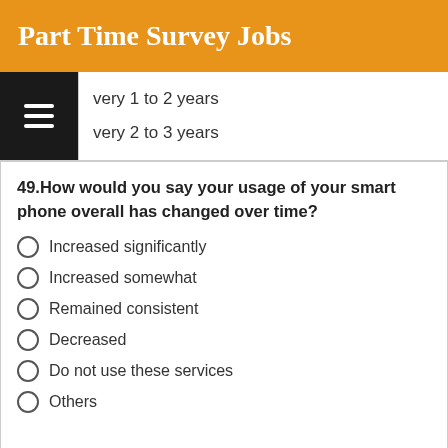Part Time Survey Jobs
very 1 to 2 years
very 2 to 3 years
49.How would you say your usage of your smart phone overall has changed over time?
Increased significantly
Increased somewhat
Remained consistent
Decreased
Do not use these services
Others
50.Do you access social media(Face book, Twitter etc..) with your smart phone?